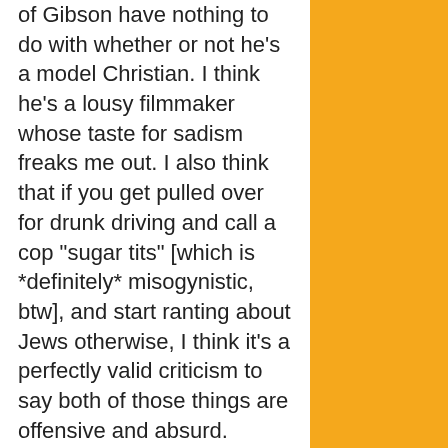of Gibson have nothing to do with whether or not he's a model Christian. I think he's a lousy filmmaker whose taste for sadism freaks me out. I also think that if you get pulled over for drunk driving and call a cop "sugar tits" [which is *definitely* misogynistic, btw], and start ranting about Jews otherwise, I think it's a perfectly valid criticism to say both of those things are offensive and absurd.
I think you can try to defend Mel from the "in vino veritas" claim, but honestly, I don't see it going anywhere. The man got drunk and spewed